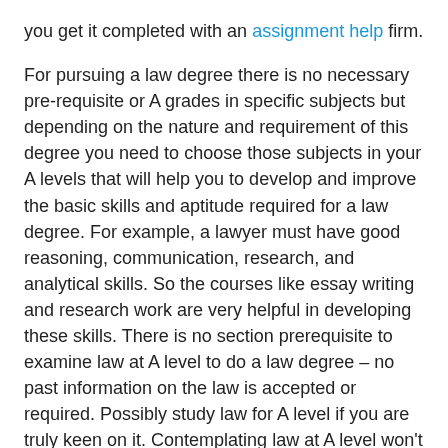you get it completed with an assignment help firm.
For pursuing a law degree there is no necessary pre-requisite or A grades in specific subjects but depending on the nature and requirement of this degree you need to choose those subjects in your A levels that will help you to develop and improve the basic skills and aptitude required for a law degree. For example, a lawyer must have good reasoning, communication, research, and analytical skills. So the courses like essay writing and research work are very helpful in developing these skills. There is no section prerequisite to examine law at A level to do a law degree – no past information on the law is accepted or required. Possibly study law for A level if you are truly keen on it. Contemplating law at A level won't give you a bit of leeway – law bosses and colleges will treat is equivalent to some other A level while thinking about your application.
Regarding grades, some law universities have very low criteria while others have very strict eligibility criteria. At some universities, the required grades for admission are ABB at A level (or equivalent), but at many top universities,